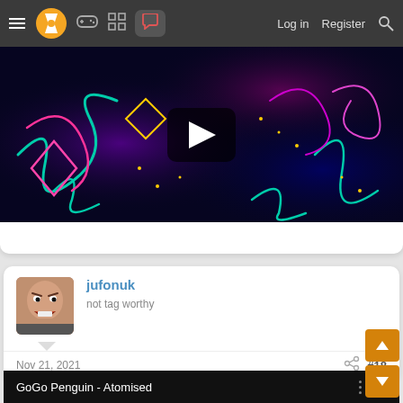Navigation bar with menu, logo, game controller, grid, chat icons, Log in, Register, Search
[Figure (screenshot): Video thumbnail showing dark psychedelic neon art with swirling teal, pink, purple patterns and a play button in the center]
jufonuk
not tag worthy
Nov 21, 2021
#18
[Figure (screenshot): Embedded video player showing GoGo Penguin - Atomised with black background, three dots menu, and up/down arrow navigation buttons in orange]